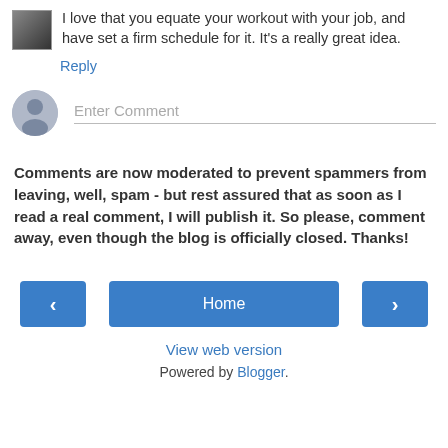I love that you equate your workout with your job, and have set a firm schedule for it. It's a really great idea.
Reply
[Figure (illustration): Gray circular user avatar icon with silhouette]
Enter Comment
Comments are now moderated to prevent spammers from leaving, well, spam - but rest assured that as soon as I read a real comment, I will publish it. So please, comment away, even though the blog is officially closed. Thanks!
‹
Home
›
View web version
Powered by Blogger.